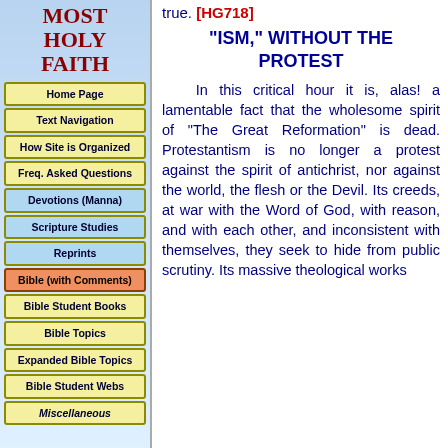MOST HOLY FAITH
Home Page
Text Navigation
How Site is Organized
Freq. Asked Questions
Devotions (Manna)
Scripture Studies
Reprints
Bible (with Comments)
Bible Student Books
Bible Topics
Expanded Bible Topics
Bible Student Webs
Miscellaneous
true. [HG718]
"ISM," WITHOUT THE PROTEST
In this critical hour it is, alas! a lamentable fact that the wholesome spirit of "The Great Reformation" is dead. Protestantism is no longer a protest against the spirit of antichrist, nor against the world, the flesh or the Devil. Its creeds, at war with the Word of God, with reason, and with each other, and inconsistent with themselves, they seek to hide from public scrutiny. Its massive theological works are but a fad before the fire of